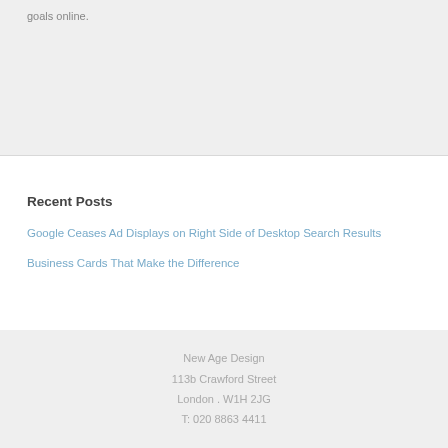goals online.
Recent Posts
Google Ceases Ad Displays on Right Side of Desktop Search Results
Business Cards That Make the Difference
New Age Design
113b Crawford Street
London . W1H 2JG
T: 020 8863 4411